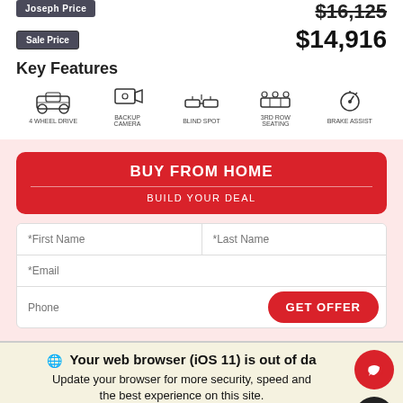Joseph Price
$16,125
Sale Price
$14,916
Key Features
[Figure (infographic): Five feature icons: 4WD/AWD, Backup Camera, Blind Spot, 3rd Row Seating, Brake Assist]
[Figure (screenshot): Buy From Home / Build Your Deal red button panel with form fields for First Name, Last Name, Email, Phone, and GET OFFER button]
Your web browser (iOS 11) is out of date. Update your browser for more security, speed and the best experience on this site.
Update browser
Ignore